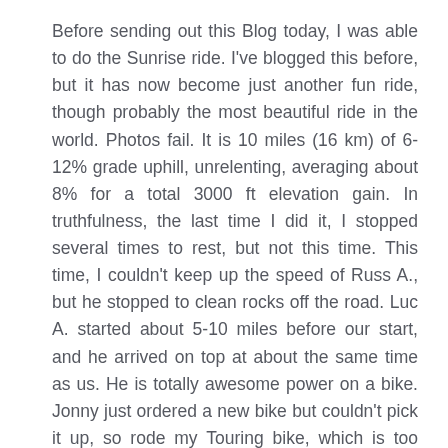Before sending out this Blog today, I was able to do the Sunrise ride. I've blogged this before, but it has now become just another fun ride, though probably the most beautiful ride in the world. Photos fail. It is 10 miles (16 km) of 6-12% grade uphill, unrelenting, averaging about 8% for a total 3000 ft elevation gain. In truthfulness, the last time I did it, I stopped several times to rest, but not this time. This time, I couldn't keep up the speed of Russ A., but he stopped to clean rocks off the road. Luc A. started about 5-10 miles before our start, and he arrived on top at about the same time as us. He is totally awesome power on a bike. Jonny just ordered a new bike but couldn't pick it up, so rode my Touring bike, which is too heavy of a bike to just be running up to Sunrise. At the same time, the RAMROD was occurring (Ride Around Mt. Rainier in One Day), a 150 mile 10,000-foot elevation gain circuit around Mt. Rainier. I would never formally do the RAMROD, though would like to just